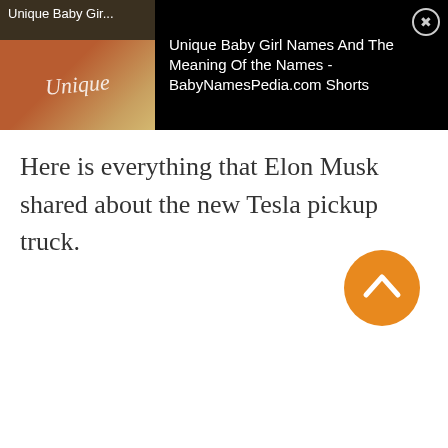[Figure (screenshot): Video ad thumbnail showing 'Unique Baby Gir...' with play button and red/orange branded image on left, and on the right a black background with white text: 'Unique Baby Girl Names And The Meaning Of the Names - BabyNamesPedia.com Shorts' and a close (X) button]
Here is everything that Elon Musk shared about the new Tesla pickup truck.
[Figure (illustration): Orange circular scroll-to-top button with upward chevron arrow icon]